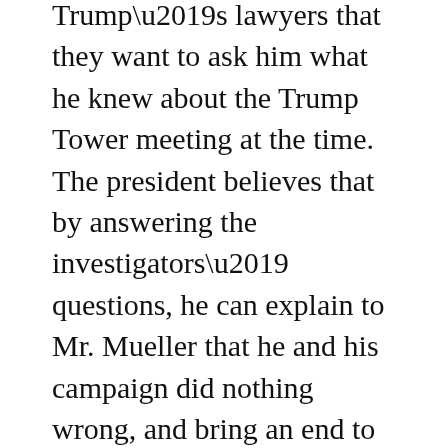Trump's lawyers that they want to ask him what he knew about the Trump Tower meeting at the time. The president believes that by answering the investigators' questions, he can explain to Mr. Mueller that he and his campaign did nothing wrong, and bring an end to the investigation.
But the president and his legal advisers have in recent weeks ratcheted up their attacks on Mr. Mueller personally. In other tweets on Sunday, Mr. Trump again called the inquiry a “Rigged Witch Hunt” and singled out Mr. Mueller by name — a step he had avoided until recently.